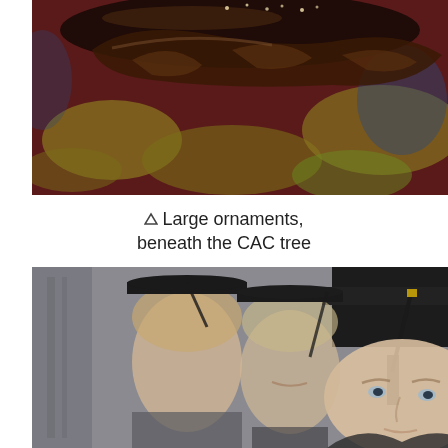[Figure (photo): Close-up photo of large decorative ornaments on a dark glossy surface resting on a richly patterned red and gold tapestry or carpet, likely beneath a Christmas tree at the CAC.]
▵ Large ornaments, beneath the CAC tree
[Figure (photo): Photo of two young men wearing black graduation mortarboard caps and gowns, one in the foreground facing right and one slightly behind, taken at a graduation ceremony.]